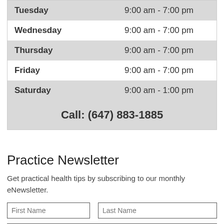| Day | Hours |
| --- | --- |
| Tuesday | 9:00 am - 7:00 pm |
| Wednesday | 9:00 am - 7:00 pm |
| Thursday | 9:00 am - 7:00 pm |
| Friday | 9:00 am - 7:00 pm |
| Saturday | 9:00 am - 1:00 pm |
| Call: (647) 883-1885 |  |
Practice Newsletter
Get practical health tips by subscribing to our monthly eNewsletter.